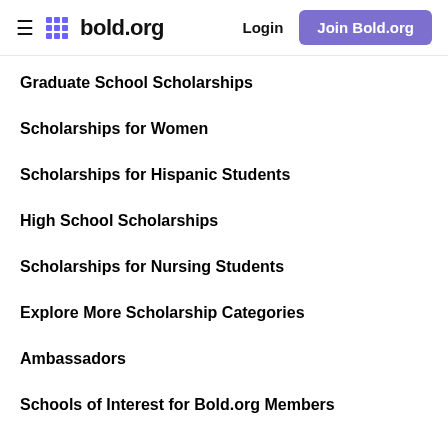bold.org — Login — Join Bold.org
Graduate School Scholarships
Scholarships for Women
Scholarships for Hispanic Students
High School Scholarships
Scholarships for Nursing Students
Explore More Scholarship Categories
Ambassadors
Schools of Interest for Bold.org Members
COMPANY